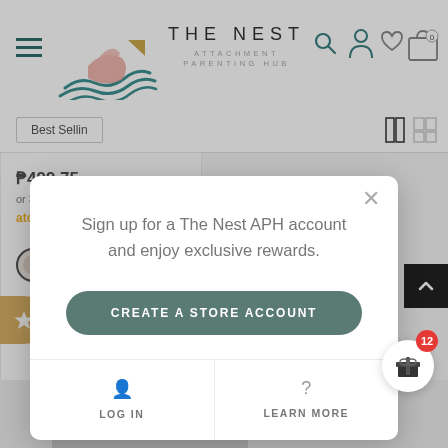[Figure (screenshot): Screenshot of The Nest Attachment Parenting Hub website with a modal popup dialog for account sign-up. The modal contains text 'Sign up for a The Nest APH account and enjoy exclusive rewards.' with a 'CREATE A STORE ACCOUNT' button, 'LOG IN' and 'LEARN MORE' links. Background shows the website header with logo, navigation icons, a 'Best Selling' filter bar, product price ₱499.75, atome payment option, and a product image showing 'silico' branding. A gift/reward badge with count '12' is visible in the bottom right.]